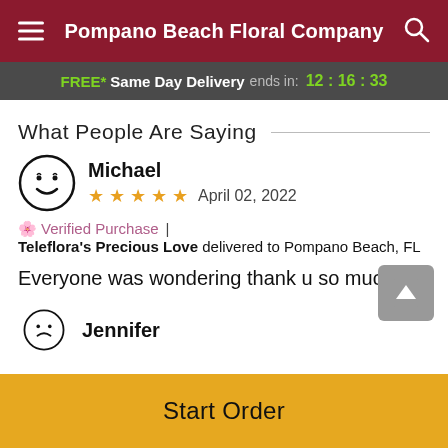Pompano Beach Floral Company
FREE* Same Day Delivery ends in: 12:16:33
What People Are Saying
Michael
★★★★★  April 02, 2022
Verified Purchase  |  Teleflora's Precious Love delivered to Pompano Beach, FL
Everyone was wondering thank u so much
Jennifer
Start Order